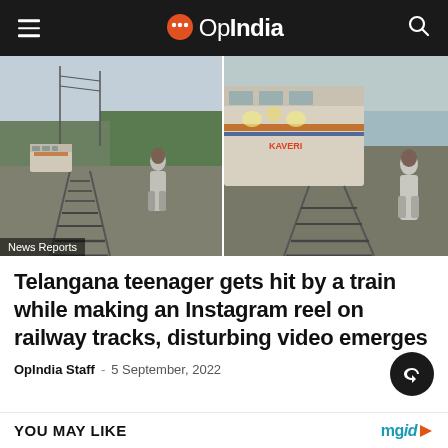OpIndia
[Figure (photo): Two side-by-side photos of a teenager standing on railway tracks with an oncoming Indian Railways train behind him. Left photo shows the train in the distance; right photo shows the train very close behind the person. A 'News Reports' label tag is visible at the bottom left of the image.]
Telangana teenager gets hit by a train while making an Instagram reel on railway tracks, disturbing video emerges
OpIndia Staff · 5 September, 2022
YOU MAY LIKE